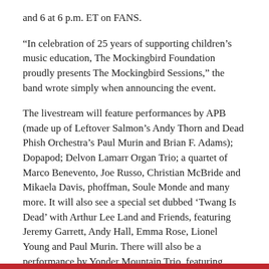and 6 at 6 p.m. ET on FANS.
“In celebration of 25 years of supporting children’s music education, The Mockingbird Foundation proudly presents The Mockingbird Sessions,” the band wrote simply when announcing the event.
The livestream will feature performances by APB (made up of Leftover Salmon’s Andy Thorn and Dead Phish Orchestra’s Paul Murin and Brian F. Adams); Dopapod; Delvon Lamarr Organ Trio; a quartet of Marco Benevento, Joe Russo, Christian McBride and Mikaela Davis, phoffman, Soule Monde and many more. It will also see a special set dubbed ‘Twang Is Dead’ with Arthur Lee Land and Friends, featuring Jeremy Garrett, Andy Hall, Emma Rose, Lionel Young and Paul Murin. There will also be a performance by Yonder Mountain Trio, featuring Adam Aijala, Ben Kaufman and Nick Piccinnini.